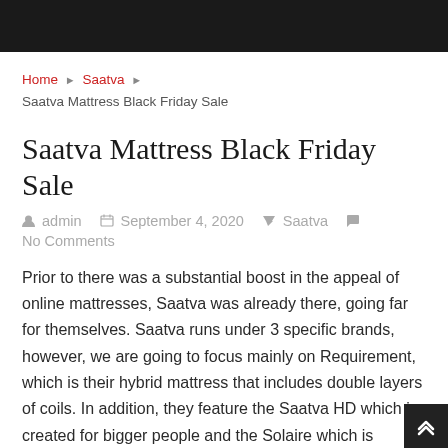Home ▶ Saatva ▶ Saatva Mattress Black Friday Sale
Saatva Mattress Black Friday Sale
admin   September 4, 2020   Saatva   No Comments
Prior to there was a substantial boost in the appeal of online mattresses, Saatva was already there, going far for themselves. Saatva runs under 3 specific brands, however, we are going to focus mainly on Requirement, which is their hybrid mattress that includes double layers of coils. In addition, they feature the Saatva HD which is created for bigger people and the Solaire which is